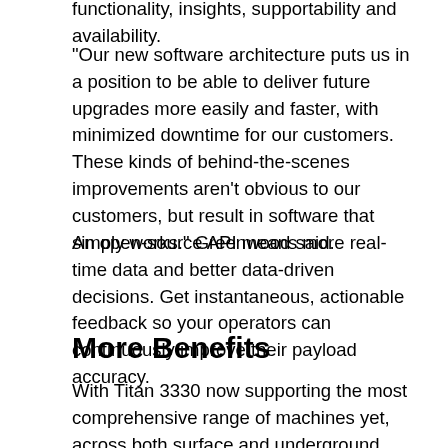functionality, insights, supportability and availability.
“Our new software architecture puts us in a position to be able to deliver future upgrades more easily and faster, with minimized downtime for our customers. These kinds of behind-the-scenes improvements aren’t obvious to our customers, but result in software that simply works.” Greenwood said.
An open-source API means more real-time data and better data-driven decisions. Get instantaneous, actionable feedback so your operators can continuously improve their payload accuracy.
More Benefits
With Titan 3330 now supporting the most comprehensive range of machines yet, across both surface and underground mining, your mine site’s load haul data can be consolidated into one cloud-